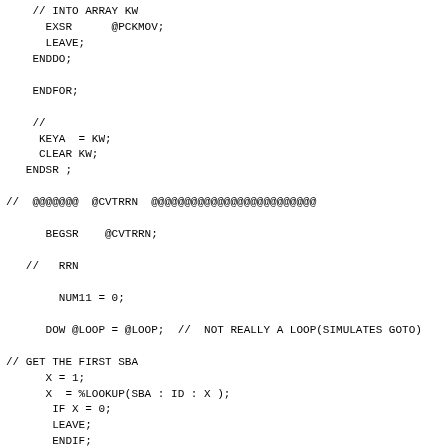// INTO ARRAY KW
    EXSR      @PCKMOV;
    LEAVE;
  ENDDO;

  ENDFOR;

  //
   KEYA  = KW;
   CLEAR KW;
 ENDSR ;

//  @@@@@@@  @CVTRRN  @@@@@@@@@@@@@@@@@@@@@@@@@

    BEGSR    @CVTRRN;

 //   RRN

      NUM11 = 0;

    DOW @LOOP = @LOOP;  //  NOT REALLY A LOOP(SIMULATES GOTO)

// GET THE FIRST SBA
    X = 1;
    X  = %LOOKUP(SBA : ID : X );
     IF X = 0;
     LEAVE;
     ENDIF;

  // CHECK THE BUFFER ADDRESS MATCHES THE EXPECTED FIELD
   X = X +1;
   IF   B(1)  <>  %SUBST(IDA : X :2);
    LEAVE;
   ENDIF;

  //  FOUND A MTD FOR RRN  FIELD
   X = X +2;